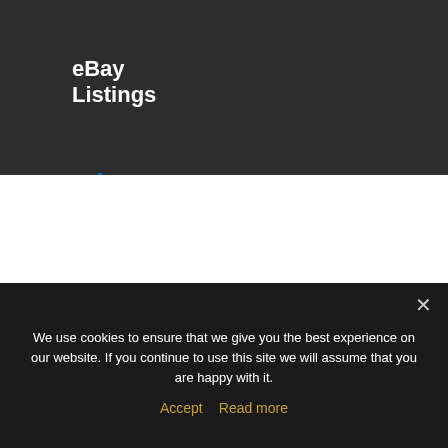eBay Listings
[Figure (logo): eBay logo in colorful italic text: e(red), b(blue), a(yellow), y(green)]
Terms and Conditions of Sale | Privacy Policy | Cookie Policy
[Figure (logo): The Plastics Industry Awards circular badge with decorative scroll design]
[Figure (logo): SIMPL Safety In logo with orange hand symbol]
We use cookies to ensure that we give you the best experience on our website. If you continue to use this site we will assume that you are happy with it.
Accept  Read more